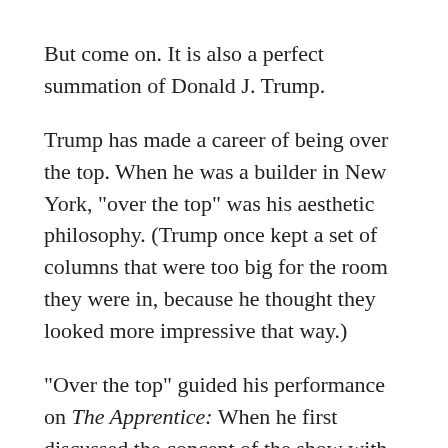But come on. It is also a perfect summation of Donald J. Trump.
Trump has made a career of being over the top. When he was a builder in New York, "over the top" was his aesthetic philosophy. (Trump once kept a set of columns that were too big for the room they were in, because he thought they looked more impressive that way.)
"Over the top" guided his performance on The Apprentice: When he first discussed the concept of the show with producer Mark Burnett, Trump later recounted in Think Big and Kick Ass, the businessman suggested he would "rant and rave like